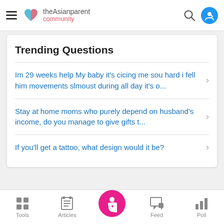theAsianparent community
Trending Questions
Im 29 weeks help My baby it's cicing me sou hard i fell him movements slmoust during all day it's o...
Stay at home moms who purely depend on husband's income, do you manage to give gifts t...
If you'll get a tattoo, what design would it be?
Tools | Articles | Feed | Poll